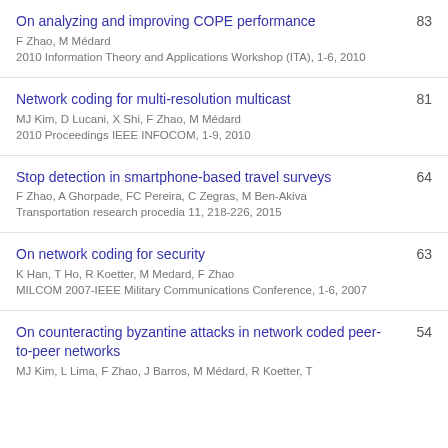On analyzing and improving COPE performance | F Zhao, M Médard | 2010 Information Theory and Applications Workshop (ITA), 1-6, 2010 | 83
Network coding for multi-resolution multicast | MJ Kim, D Lucani, X Shi, F Zhao, M Médard | 2010 Proceedings IEEE INFOCOM, 1-9, 2010 | 81
Stop detection in smartphone-based travel surveys | F Zhao, A Ghorpade, FC Pereira, C Zegras, M Ben-Akiva | Transportation research procedia 11, 218-226, 2015 | 64
On network coding for security | K Han, T Ho, R Koetter, M Medard, F Zhao | MILCOM 2007-IEEE Military Communications Conference, 1-6, 2007 | 63
On counteracting byzantine attacks in network coded peer-to-peer networks | MJ Kim, L Lima, F Zhao, J Barros, M Médard, R Koetter, T ... | 54